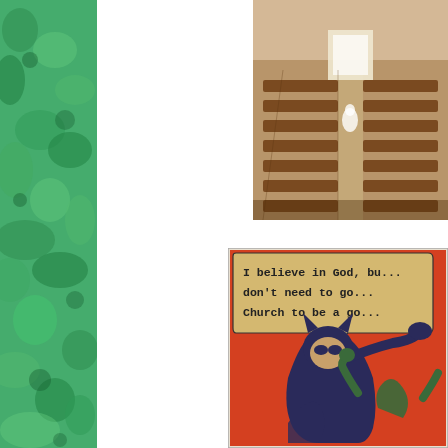[Figure (illustration): Green mottled/textured background panel on the left side of the page, resembling a sponge or foliage texture in various shades of green.]
[Figure (photo): Photograph of the interior of a church showing rows of wooden pews and a ghost-like white figure at the far end, with a bright window or altar area visible.]
[Figure (illustration): Comic book panel (Batman slapping Robin meme style) with a red background. A dark-caped figure is slapping another character. A speech bubble reads: 'I believe in God, bu... don't need to go... Church to be a go...' The text is partially cut off at the right edge.]